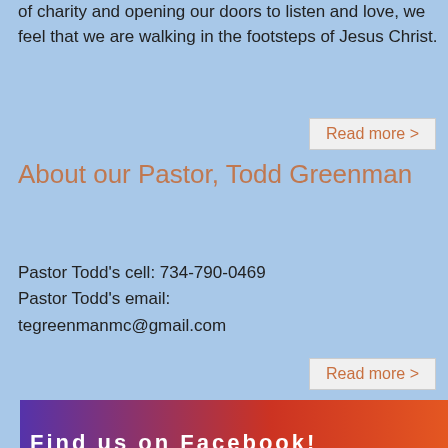of charity and opening our doors to listen and love, we feel that we are walking in the footsteps of Jesus Christ.
Read more >
About our Pastor, Todd Greenman
Pastor Todd's cell: 734-790-0469
Pastor Todd's email:
tegreenmanmc@gmail.com
Read more >
[Figure (other): Facebook banner button with gradient background from purple to orange-red, text: Find us on Facebook!]
Link to our Facebook page is under construction. Thank you for your patience!